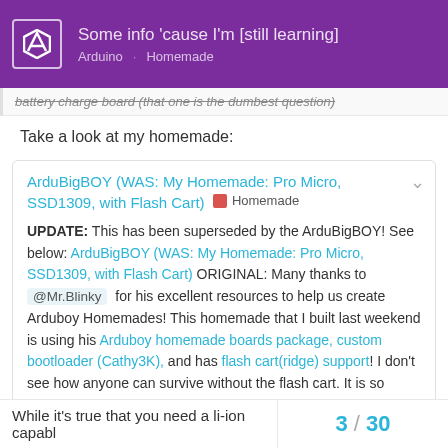Some info 'cause I'm [still learning] — Arduino · Homemade
battery charge board (that one is the dumbest question)
Take a look at my homemade:
ArduBigBOY (WAS: My Homemade: Pro Micro, SSD1309, with Flash Cart) Homemade
UPDATE: This has been superseded by the ArduBigBOY! See below: ArduBigBOY (WAS: My Homemade: Pro Micro, SSD1309, with Flash Cart) ORIGINAL: Many thanks to @Mr.Blinky for his excellent resources to help us create Arduboy Homemades! This homemade that I built last weekend is using his Arduboy homemade boards package, custom bootloader (Cathy3K), and has flash cart(ridge) support! I don't see how anyone can survive without the flash cart. It is so much more convenient to switch games on the …
While it's true that you need a li-ion capabl
3 / 30